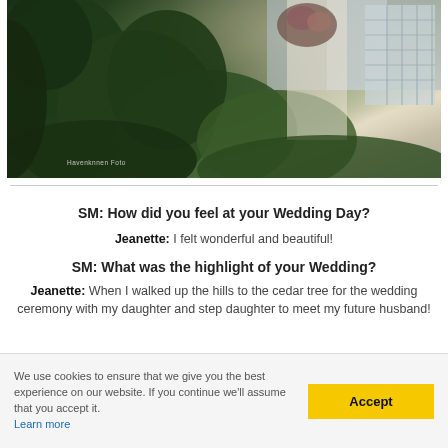[Figure (photo): Wedding photo showing a bride holding a floral bouquet among green bushes/trees near a building with shutters. Watermark reads 'Haverknnen Foto'.]
SM: How did you feel at your Wedding Day?
Jeanette: I felt wonderful and beautiful!
SM: What was the highlight of your Wedding?
Jeanette: When I walked up the hills to the cedar tree for the wedding ceremony with my daughter and step daughter to meet my future husband!
We use cookies to ensure that we give you the best experience on our website. If you continue we'll assume that you accept it. Learn more